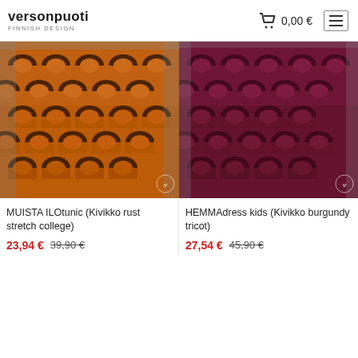versonpuoti FINNISH DESIGN  0,00 €
[Figure (photo): Orange patterned tunic with arch/rainbow print on a model, versonpuoti watermark]
MUISTA ILOtunic (Kivikko rust stretch college)
23,94 € 39,90 €
[Figure (photo): Burgundy patterned dress with arch/rainbow print on a model, versonpuoti watermark]
HEMMAdress kids (Kivikko burgundy tricot)
27,54 € 45,90 €